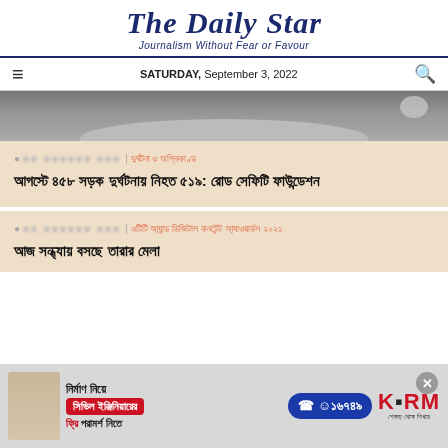The Daily Star
Journalism Without Fear or Favour
SATURDAY, September 3, 2022
[Figure (photo): Gray textured surface photo, partially visible, top of page]
দুর্ঘটনা ও অগ্নিকাণ্ড
আগস্টে ৪৫৮ সড়ক দুর্ঘটনায় নিহত ৫১৯: রোড সেফিটি ফাউন্ডেশন
ওটিটি আ্যান্ড ডিজিটাল কনটেন্ট আ্যাওয়ার্ডস ২০২১
আজ সন্ধ্যায় বসছে তারার মেলা
[Figure (infographic): Advertisement for KSRM civil engineering consultancy showing phone number 16749 and Bengali text about construction advice]